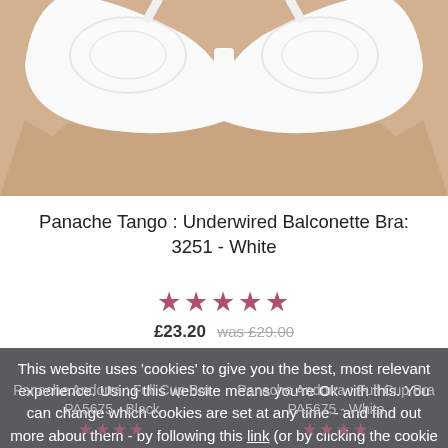[Figure (photo): White underwired balconette bra product photo on model, cropped at waist]
Panache Tango : Underwired Balconette Bra: 3251 - White
★★★★★
£23.20 was £29.00
This website uses 'cookies' to give you the best, most relevant experience. Using this website means you're Ok with this. You can change which cookies are set at any time - and find out more about them - by following this link (or by clicking the cookie link at the top of any page).
OK, I understand
Panache Andorra : Full Cup Bra PA5675 - Black
Panache Andorra : Full Cup Bra PA5675 - White
★★★★
★★★★